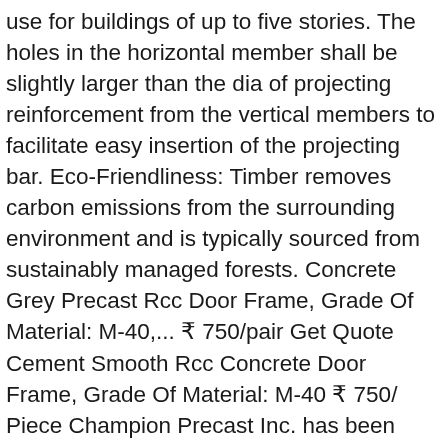use for buildings of up to five stories. The holes in the horizontal member shall be slightly larger than the dia of projecting reinforcement from the vertical members to facilitate easy insertion of the projecting bar. Eco-Friendliness: Timber removes carbon emissions from the surrounding environment and is typically sourced from sustainably managed forests. Concrete Grey Precast Rcc Door Frame, Grade Of Material: M-40,... ₹ 750/pair Get Quote Cement Smooth Rcc Concrete Door Frame, Grade Of Material: M-40 ₹ 750/ Piece Champion Precast Inc. has been manufacturing precast concrete products for over 40-years. Precast Concrete Foundations- Features and Advantages, Driven Precast Concrete Pile – Construction, Applications, and Advantages, 5 Tips to Streamline Construction Projects during the Pandemic. We demonstrated equipment, technology and engineering expertise. 831 likes. Arrangements for fixing the frames